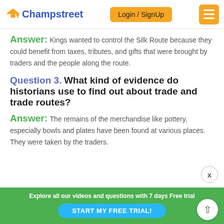Champstreet | Login / SignUp
Answer: Kings wanted to control the Silk Route because they could benefit from taxes, tributes, and gifts that were brought by traders and the people along the route.
Question 3. What kind of evidence do historians use to find out about trade and trade routes?
Answer: The remains of the merchandise like pottery, especially bowls and plates have been found at various places. They were taken by the traders.
Explore all our videos and questions with 7 days Free trial | START MY FREE TRIAL!